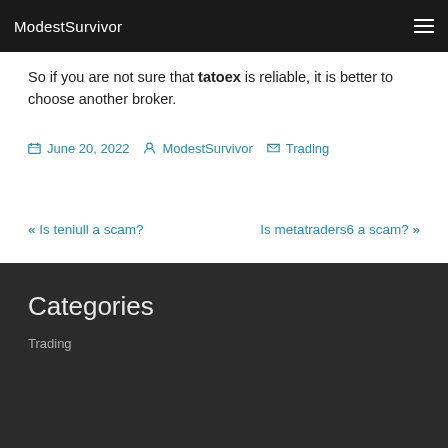ModestSurvivor
So if you are not sure that tatoex is reliable, it is better to choose another broker.
June 20, 2022  ModestSurvivor  Trading
« Is teniull a scam?    Is metatraders6 a scam? »
Categories
Trading